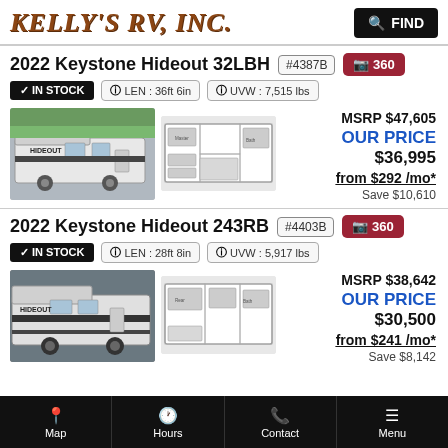KELLY'S RV, INC.
2022 Keystone Hideout 32LBH #4387B 360
✓ IN STOCK  ℹ LEN : 36ft 6in  ℹ UVW : 7,515 lbs
[Figure (photo): Photo of 2022 Keystone Hideout 32LBH RV exterior]
[Figure (schematic): Floor plan diagram of 2022 Keystone Hideout 32LBH]
MSRP $47,605
OUR PRICE $36,995
from $292 /mo*
Save $10,610
2022 Keystone Hideout 243RB #4403B 360
✓ IN STOCK  ℹ LEN : 28ft 8in  ℹ UVW : 5,917 lbs
[Figure (photo): Photo of 2022 Keystone Hideout 243RB RV exterior]
[Figure (schematic): Floor plan diagram of 2022 Keystone Hideout 243RB]
MSRP $38,642
OUR PRICE $30,500
from $241 /mo*
Save $8,142
Map  Hours  Contact  Menu